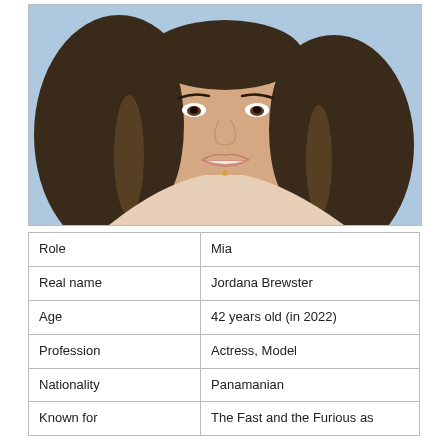[Figure (photo): Portrait photo of Jordana Brewster, a woman with long dark wavy hair, smiling, against a light blue background, wearing a beige top.]
| Role | Mia |
| Real name | Jordana Brewster |
| Age | 42 years old (in 2022) |
| Profession | Actress, Model |
| Nationality | Panamanian |
| Known for | The Fast and the Furious as |